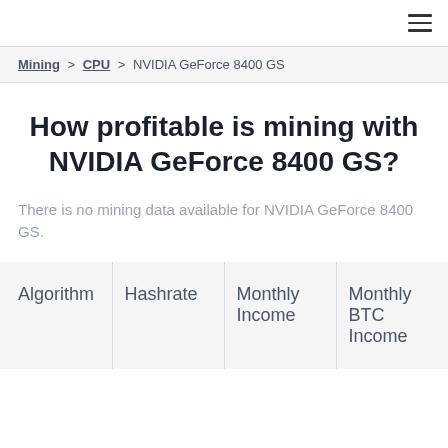≡
Mining > CPU > NVIDIA GeForce 8400 GS
How profitable is mining with NVIDIA GeForce 8400 GS?
There is no mining data available for NVIDIA GeForce 8400 GS.
| Algorithm | Hashrate | Monthly Income | Monthly BTC Income |
| --- | --- | --- | --- |